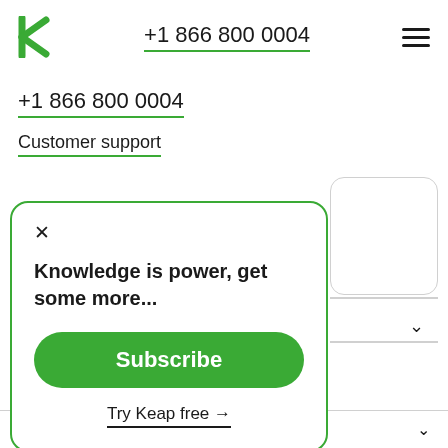+1 866 800 0004
+1 866 800 0004
Customer support
× 
Knowledge is power, get some more...
Subscribe
Try Keap free →
Blog